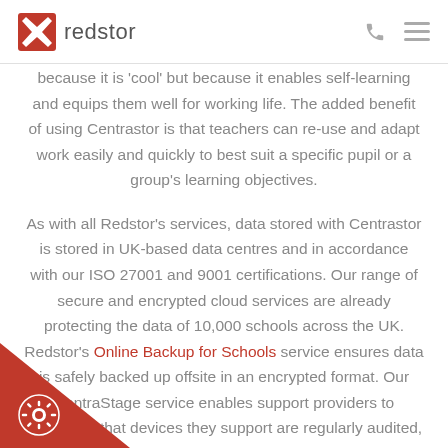redstor
because it is 'cool' but because it enables self-learning and equips them well for working life. The added benefit of using Centrastor is that teachers can re-use and adapt work easily and quickly to best suit a specific pupil or a group's learning objectives.
As with all Redstor's services, data stored with Centrastor is stored in UK-based data centres and in accordance with our ISO 27001 and 9001 certifications. Our range of secure and encrypted cloud services are already protecting the data of 10,000 schools across the UK. Redstor's Online Backup for Schools service ensures data is safely backed up offsite in an encrypted format. Our CentraStage service enables support providers to guarantee that devices they support are regularly audited, patched and safely up-to-date for proactive endpoint management. Our Virtual Disaster...